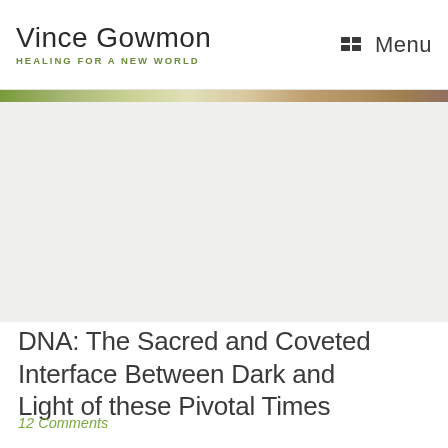Vince Gowmon HEALING FOR A NEW WORLD | Menu
[Figure (illustration): Gradient decorative bar with green to brown tones, and a light banner/image area below]
DNA: The Sacred and Coveted Interface Between Dark and Light of these Pivotal Times
12 Comments